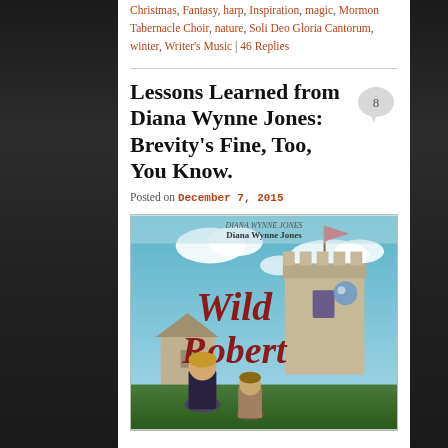Christmas, Fantasy, harp, Inspiration, magic, Mormon Tabernacle Choir, nature, Soli Deo Gloria Cantorum, winter, Writer's Music | 46 Replies
Lessons Learned from Diana Wynne Jones: Brevity's Fine, Too, You Know.
Posted on December 7, 2015
[Figure (illustration): Book cover of 'Wild Robert' by Diana Wynne Jones, showing two figures and a castle tower with a flag, blue sky with clouds]